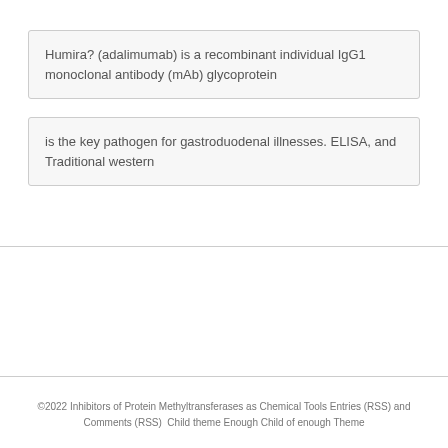Humira? (adalimumab) is a recombinant individual IgG1 monoclonal antibody (mAb) glycoprotein
is the key pathogen for gastroduodenal illnesses. ELISA, and Traditional western
©2022 Inhibitors of Protein Methyltransferases as Chemical Tools Entries (RSS) and Comments (RSS)  Child theme Enough Child of enough Theme